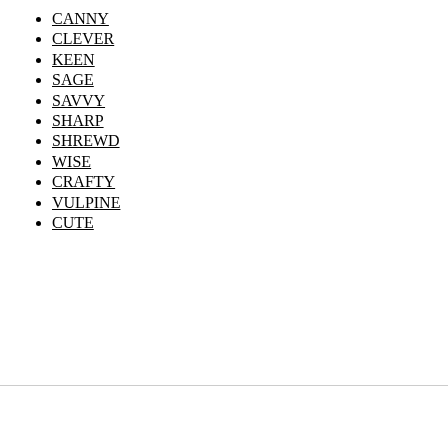CANNY
CLEVER
KEEN
SAGE
SAVVY
SHARP
SHREWD
WISE
CRAFTY
VULPINE
CUTE